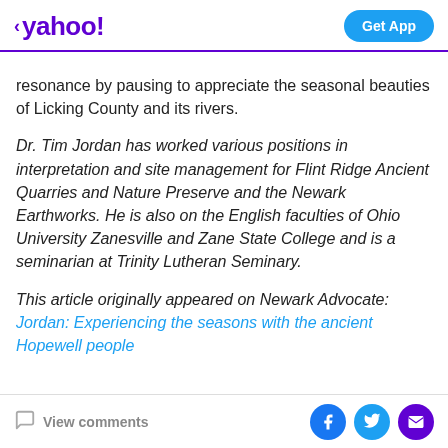< yahoo! | Get App
resonance by pausing to appreciate the seasonal beauties of Licking County and its rivers.
Dr. Tim Jordan has worked various positions in interpretation and site management for Flint Ridge Ancient Quarries and Nature Preserve and the Newark Earthworks. He is also on the English faculties of Ohio University Zanesville and Zane State College and is a seminarian at Trinity Lutheran Seminary.
This article originally appeared on Newark Advocate: Jordan: Experiencing the seasons with the ancient Hopewell people
View comments | Facebook | Twitter | Email